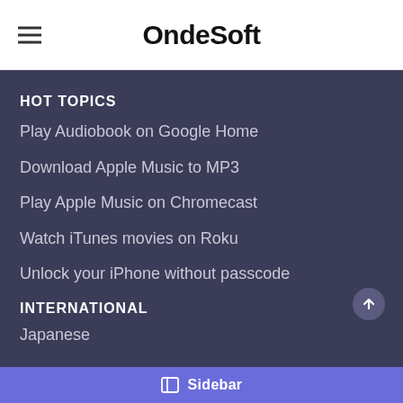OndeSoft
HOT TOPICS
Play Audiobook on Google Home
Download Apple Music to MP3
Play Apple Music on Chromecast
Watch iTunes movies on Roku
Unlock your iPhone without passcode
INTERNATIONAL
Japanese
Sidebar